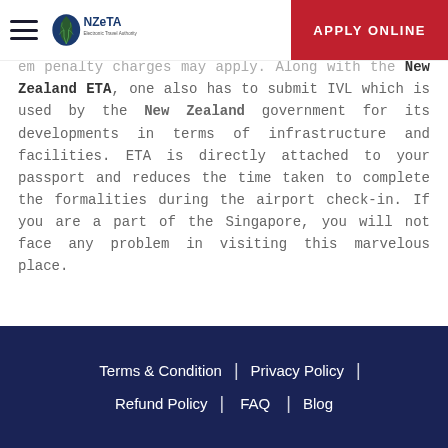NZeTA Electronic Travel Authority — APPLY ONLINE
It is advisable to carry the hard copy of the ETA during ... rates for ap... nominal though if you want an em... penalty charges may apply. Along with the New Zealand ETA, one also has to submit IVL which is used by the New Zealand government for its developments in terms of infrastructure and facilities. ETA is directly attached to your passport and reduces the time taken to complete the formalities during the airport check-in. If you are a part of the Singapore, you will not face any problem in visiting this marvelous place.
Terms & Condition | Privacy Policy | Refund Policy | FAQ | Blog